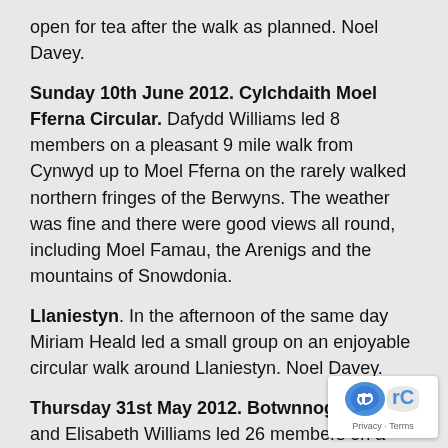open for tea after the walk as planned. Noel Davey.
Sunday 10th June 2012. Cylchdaith Moel Fferna Circular. Dafydd Williams led 8 members on a pleasant 9 mile walk from Cynwyd up to Moel Fferna on the rarely walked northern fringes of the Berwyns. The weather was fine and there were good views all round, including Moel Famau, the Arenigs and the mountains of Snowdonia.
Llaniestyn. In the afternoon of the same day Miriam Heald led a small group on an enjoyable circular walk around Llaniestyn. Noel Davey.
Thursday 31st May 2012. Botwnnog. David and Elisabeth Williams led 26 members on a walk from Bontwnnog along the lanes to and from Llaniestyn. Sadly it drizzled all day, but the Ramblers remained cheerful throughout this pleasant walk. Miriam and Tony Heald kindly allowed the walkers to eat their picnics in their delightful house in Llaniestyn sheltering from the rain. Ian Spencer.
Sunday 27th May 2012. Llanbedr Powy...